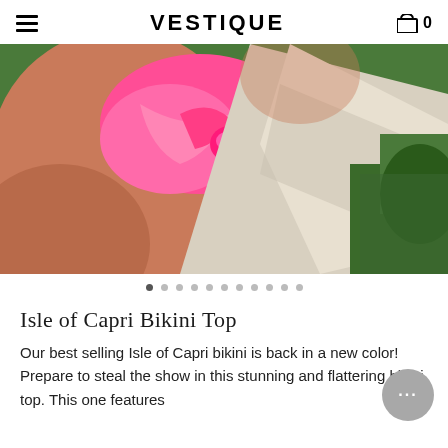VESTIQUE
[Figure (photo): Close-up photo of a person in a bright neon pink/coral bikini top, lying on what appears to be a white surface/lounger with green grass visible in the background.]
Isle of Capri Bikini Top
Our best selling Isle of Capri bikini is back in a new color! Prepare to steal the show in this stunning and flattering bikini top. This one features